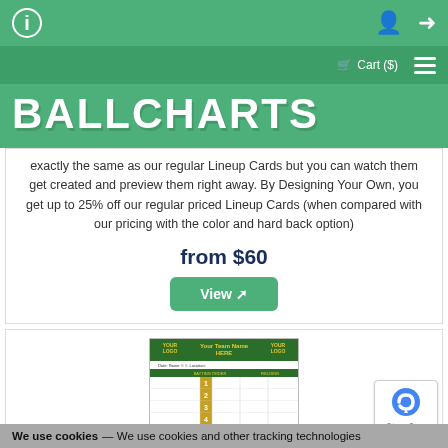BallCharts navigation header with cart and menu icons
BALLCHARTS
exactly the same as our regular Lineup Cards but you can watch them get created and preview them right away. By Designing Your Own, you get up to 25% off our regular priced Lineup Cards (when compared with our pricing with the color and hard back option)
from $60
View
[Figure (other): Lineup card template showing Your Team Name Here with numbered rows 1-5 in yellow/green design]
We use cookies — We use cookies and other tracking technologies